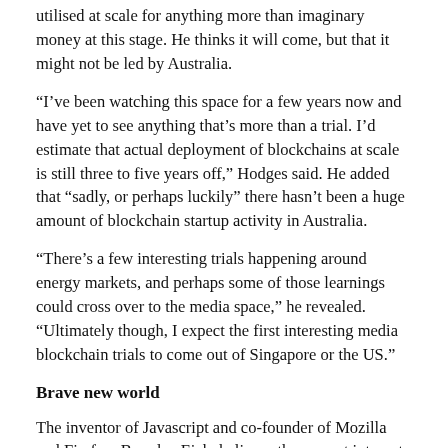utilised at scale for anything more than imaginary money at this stage. He thinks it will come, but that it might not be led by Australia.
“I’ve been watching this space for a few years now and have yet to see anything that’s more than a trial. I’d estimate that actual deployment of blockchains at scale is still three to five years off,” Hodges said. He added that “sadly, or perhaps luckily” there hasn’t been a huge amount of blockchain startup activity in Australia.
“There’s a few interesting trials happening around energy markets, and perhaps some of those learnings could cross over to the media space,” he revealed. “Ultimately though, I expect the first interesting media blockchain trials to come out of Singapore or the US.”
Brave new world
The inventor of Javascript and co-founder of Mozilla and Firefox, Brendan Eich, believes the current internet advertising system “is broken” and hurts advertisers and publishers. He said digital advertising is overrun by middlemen and fraudsters, which is why he launched the Brave web browser in 2016.
It blocks ads and trackers that “slow you down, chew up your bandwidth, and invade your privacy” and raised US$25 million in